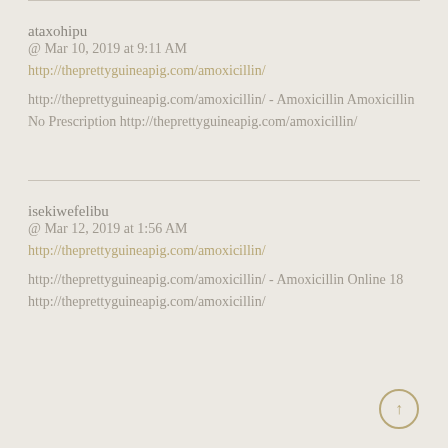ataxohipu
@ Mar 10, 2019 at 9:11 AM
http://theprettyguineapig.com/amoxicillin/
http://theprettyguineapig.com/amoxicillin/ - Amoxicillin Amoxicillin No Prescription http://theprettyguineapig.com/amoxicillin/
isekiwefelibu
@ Mar 12, 2019 at 1:56 AM
http://theprettyguineapig.com/amoxicillin/
http://theprettyguineapig.com/amoxicillin/ - Amoxicillin Online 18 http://theprettyguineapig.com/amoxicillin/